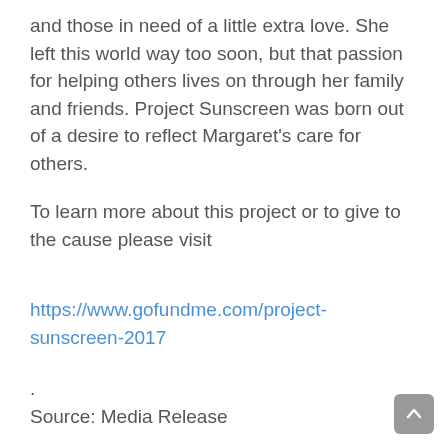and those in need of a little extra love. She left this world way too soon, but that passion for helping others lives on through her family and friends. Project Sunscreen was born out of a desire to reflect Margaret's care for others.
To learn more about this project or to give to the cause please visit
https://www.gofundme.com/project-sunscreen-2017
.
Source: Media Release